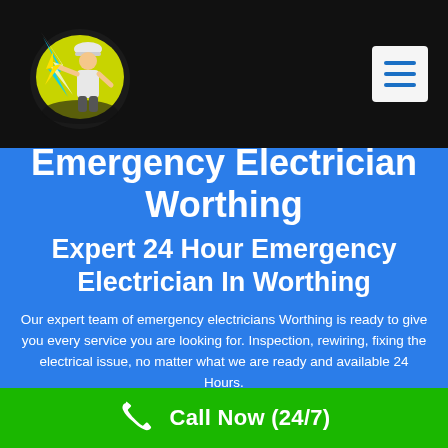[Figure (logo): Electrician logo with worker figure holding lightning bolt, circular yellow-green background, set on black header bar]
Emergency Electrician Worthing
Expert 24 Hour Emergency Electrician In Worthing
Our expert team of emergency electricians Worthing is ready to give you every service you are looking for. Inspection, rewiring, fixing the electrical issue, no matter what we are ready and available 24 Hours.
Call Now (24/7)